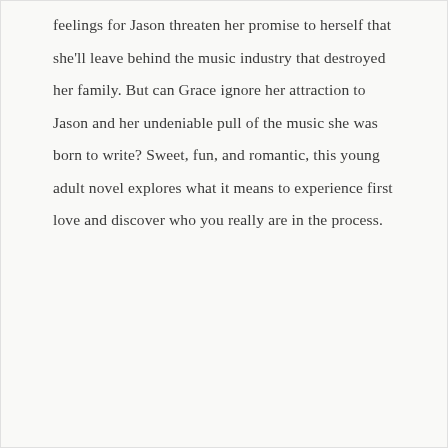feelings for Jason threaten her promise to herself that she'll leave behind the music industry that destroyed her family. But can Grace ignore her attraction to Jason and her undeniable pull of the music she was born to write? Sweet, fun, and romantic, this young adult novel explores what it means to experience first love and discover who you really are in the process.